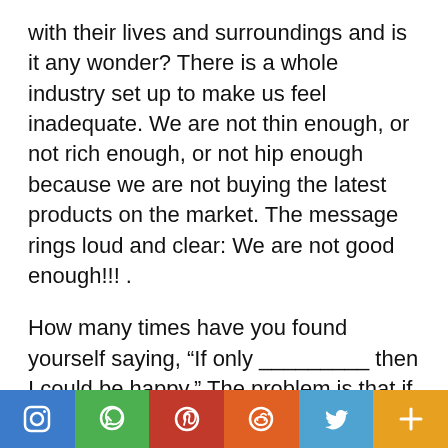with their lives and surroundings and is it any wonder? There is a whole industry set up to make us feel inadequate. We are not thin enough, or not rich enough, or not hip enough because we are not buying the latest products on the market. The message rings loud and clear: We are not good enough!!! .
How many times have you found yourself saying, “If only _________ then I could be happy.” The problem is that if we get caught up in this way of thinking we will never be happy because there is always something more we will think we need to complete our lives.
[Figure (infographic): Social media sharing bar with six colored buttons: Instagram (blue), WhatsApp (green), Pinterest (red), Reddit (orange), Twitter (light blue), and a plus/more button (amber/orange).]